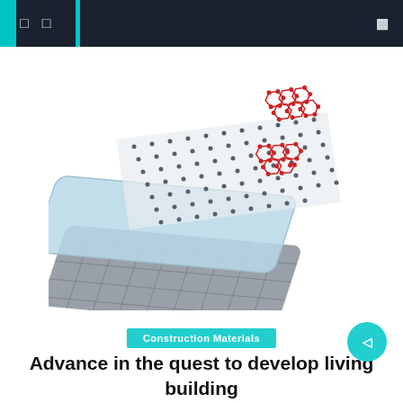[ ] [ ]   [search icon]
[Figure (illustration): Exploded view illustration of layered nanomaterial sheets: top layer shows hexagonal molecular lattice in dark grey with red hexagonal molecular structures peeling away at the corner, middle layer is a light blue translucent substrate sheet, bottom layer is a dark grey grid-textured base sheet]
Construction Materials
Advance in the quest to develop living building materials and beyond